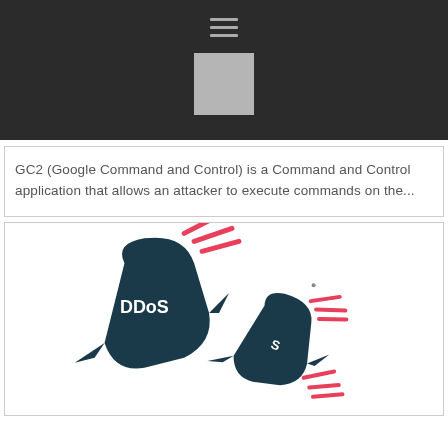[Figure (other): Dark header bar with hamburger menu icon and a light gray placeholder square image below it]
GC2 (Google Command and Control) is a Command and Control application that allows an attacker to execute commands on the...
[Figure (illustration): Illustration of two dark navy bomb shapes labeled 'DDoS' with red speed-line streaks, on a white background inside a bordered card]